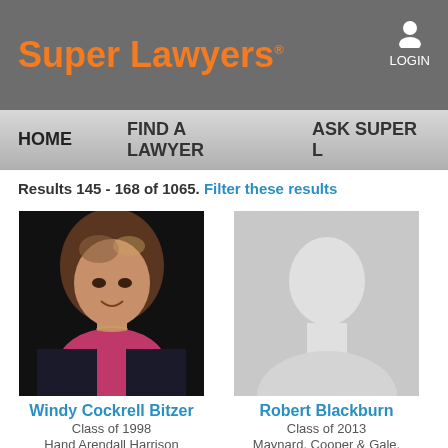[Figure (logo): Super Lawyers logo with orange text on gray header bar]
LOGIN
HOME   FIND A LAWYER   ASK SUPER L...
Results 145 - 168 of 1065. Filter these results
[Figure (photo): Professional headshot of Windy Cockrell Bitzer, woman with brown hair wearing pink collar and dark jacket]
Windy Cockrell Bitzer
Class of 1998
Hand Arendall Harrison Sale LLC
[Figure (photo): Default silhouette placeholder photo for Robert Blackburn]
Robert Blackburn
Class of 2013
Maynard, Cooper & Gale, P.C.